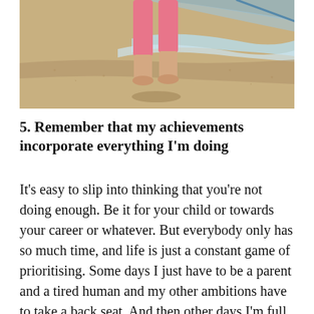[Figure (photo): Photo of a child's legs wearing pink cropped pants, standing barefoot on a sandy beach with ocean waves in the background]
5. Remember that my achievements incorporate everything I'm doing
It's easy to slip into thinking that you're not doing enough. Be it for your child or towards your career or whatever. But everybody only has so much time, and life is just a constant game of prioritising. Some days I just have to be a parent and a tired human and my other ambitions have to take a back seat. And then other days I'm full of energy and writing ideas and I manage to get lots done.